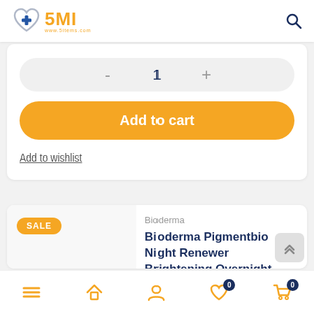[Figure (logo): 5ML pharmacy logo with heart and plus symbol in silver/blue, text 5ML in orange]
- 1 +
Add to cart
Add to wishlist
SALE
Bioderma
Bioderma Pigmentbio Night Renewer Brightening Overnight Care for Dark Spots - Sensitive Skin - 50ml
Navigation bar with menu, home, account, wishlist (0), cart (0) icons